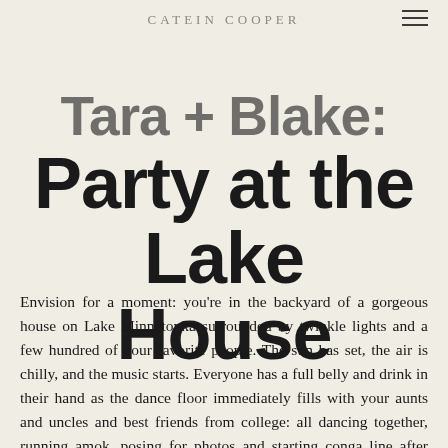CATEIN COOPER
Tara + Blake: Party at the Lake House
Envision for a moment: you're in the backyard of a gorgeous house on Lake Minnetonka surrounded by twinkle lights and a few hundred of your favorite people. The sun has set, the air is chilly, and the music starts. Everyone has a full belly and drink in their hand as the dance floor immediately fills with your aunts and uncles and best friends from college: all dancing together, running amok, posing for photos and starting conga line after conga line after conga line.